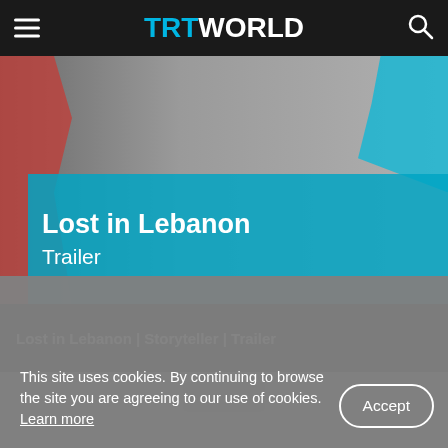TRT WORLD
[Figure (screenshot): Hero video thumbnail for 'Lost in Lebanon Trailer' showing a person in grayscale with red and teal color splash overlays. A teal banner overlay shows the text 'Lost in Lebanon Trailer'.]
Lost in Lebanon | Storyteller | Trailer
This site uses cookies. By continuing to browse the site you are agreeing to our use of cookies. Learn more